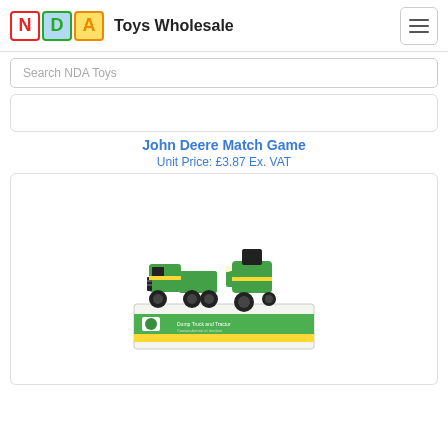Toys Wholesale — NDA Toys
Search NDA Toys
John Deere Match Game
Unit Price: £3.87 Ex. VAT
[Figure (photo): John Deere Dump Truck and Tractor toy set in green plastic, shown in branded retail packaging with yellow/green John Deere branding]